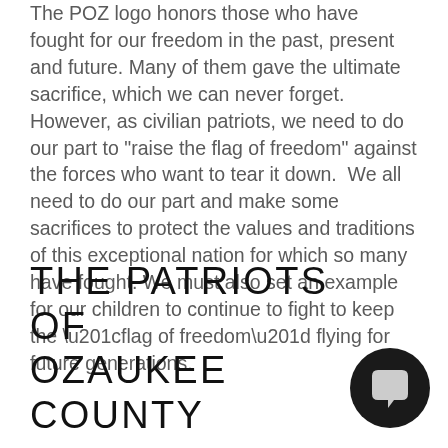The POZ logo honors those who have fought for our freedom in the past, present and future. Many of them gave the ultimate sacrifice, which we can never forget. However, as civilian patriots, we need to do our part to "raise the flag of freedom" against the forces who want to tear it down. We all need to do our part and make some sacrifices to protect the values and traditions of this exceptional nation for which so many have fought. We must also set an example for our children to continue to fight to keep the “flag of freedom” flying for future generations.
THE PATRIOTS OF OZAUKEE COUNTY
[Figure (illustration): Black circular chat bubble icon with a white speech balloon symbol inside]